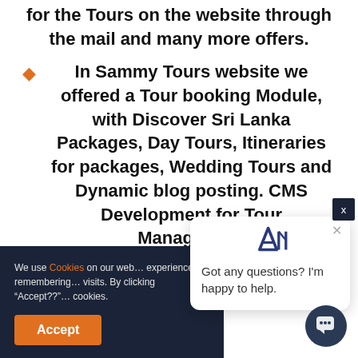for the Tours on the website through the mail and many more offers.
In Sammy Tours website we offered a Tour booking Module, with Discover Sri Lanka Packages, Day Tours, Itineraries for packages, Wedding Tours and Dynamic blog posting. CMS Development for Tour Management
We use Cookies on our web... experience by remembering... visits. By clicking "Accept??"... cookies.
Got any questions? I'm happy to help.